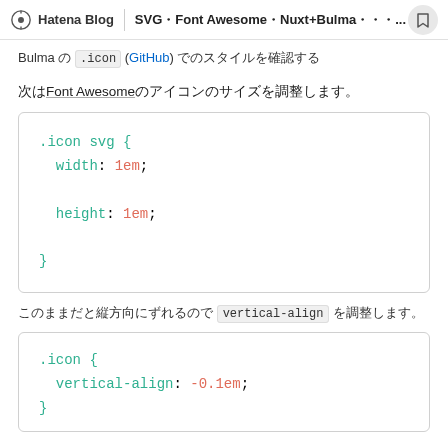Hatena Blog | SVG・Font Awesome・Nuxt+Bulma・・・...
Bulma の .icon (GitHub) でのスタイルを確認する
次はFont Awesomeのアイコンのサイズを調整します。
.icon svg {
  width: 1em;
  height: 1em;
}
このままだと縦方向にずれるので vertical-align を調整します。
.icon {
  vertical-align: -0.1em;
}